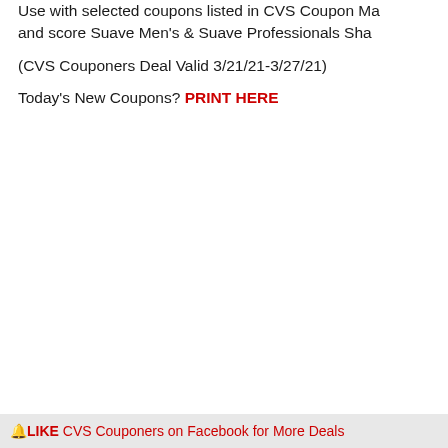Use with selected coupons listed in CVS Coupon Ma… and score Suave Men's & Suave Professionals Sha…
(CVS Couponers Deal Valid 3/21/21-3/27/21)
Today's New Coupons? PRINT HERE
🔔LIKE CVS Couponers on Facebook for More Deals